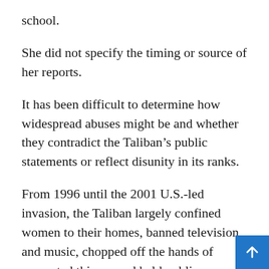school.
She did not specify the timing or source of her reports.
It has been difficult to determine how widespread abuses might be and whether they contradict the Taliban's public statements or reflect disunity in its ranks.
From 1996 until the 2001 U.S.-led invasion, the Taliban largely confined women to their homes, banned television and music, chopped off the hands of suspected thieves and held public executions.